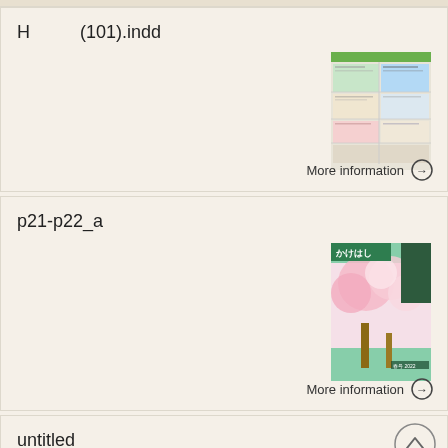H          (101).indd
[Figure (screenshot): Thumbnail of a document/magazine page with colorful grid layout]
More information →
p21-p22_a
[Figure (photo): Thumbnail of a magazine cover showing cherry blossom trees with green banner text]
More information →
untitled
[Figure (screenshot): Partial thumbnail showing green element at bottom, back-to-top arrow button]